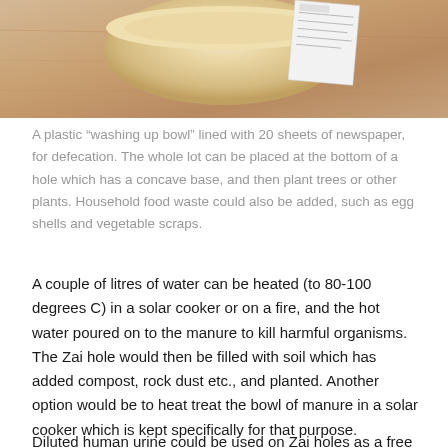[Figure (photo): A plastic washing up bowl lined with newspaper sheets, photographed on a wooden surface, partially visible from the top of the page.]
A plastic “washing up bowl” lined with 20 sheets of newspaper, for defecation. The whole lot can be placed at the bottom of a hole which has a concave base, and then plant trees or other plants. Household food waste could also be added, such as egg shells and vegetable scraps.
A couple of litres of water can be heated (to 80-100 degrees C) in a solar cooker or on a fire, and the hot water poured on to the manure to kill harmful organisms. The Zai hole would then be filled with soil which has added compost, rock dust etc., and planted. Another option would be to heat treat the bowl of manure in a solar cooker which is kept specifically for that purpose.
Diluted human urine could be used on Zai holes as a free